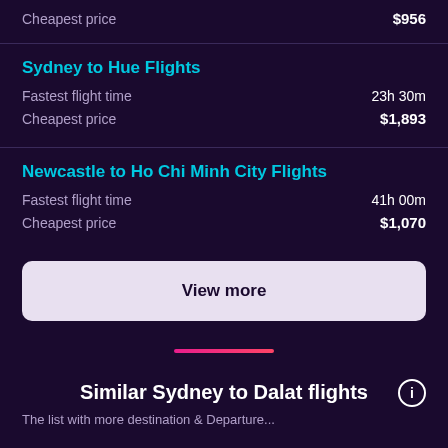Cheapest price  $956
Sydney to Hue Flights
Fastest flight time  23h 30m
Cheapest price  $1,893
Newcastle to Ho Chi Minh City Flights
Fastest flight time  41h 00m
Cheapest price  $1,070
View more
Similar Sydney to Dalat flights
The list with more destination & Departure...